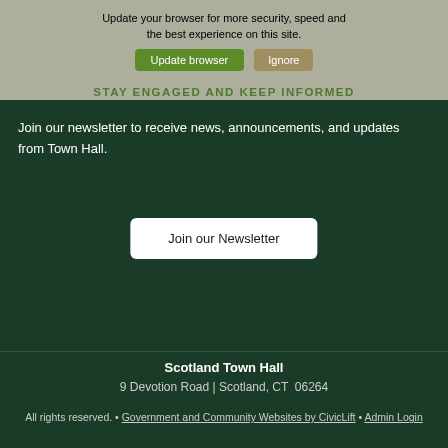[Figure (screenshot): Browser update warning overlay with gray background showing 'Update your browser for more security, speed and the best experience on this site.' with green 'Update browser' and tan 'Ignore' buttons]
STAY ENGAGED AND KEEP INFORMED
Join our newsletter to receive news, announcements, and updates from Town Hall.
Join our Newsletter
Scotland Town Hall
9 Devotion Road | Scotland, CT  06264
All rights reserved. • Government and Community Websites by CivicLift • Admin Login